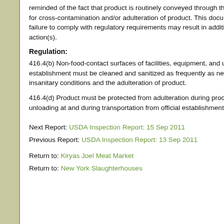reminded of the fact that product is routinely conveyed through these vinyl curtains and of the potential for cross-contamination and/or adulteration of product. This document serves as written notification that failure to comply with regulatory requirements may result in additional regulatory and/or administrative action(s).
Regulation:
416.4(b) Non-food-contact surfaces of facilities, equipment, and utensils used in the operation of the establishment must be cleaned and sanitized as frequently as necessary to prevent the creation of insanitary conditions and the adulteration of product.
416.4(d) Product must be protected from adulteration during processing, handling, storage, loading, and unloading at and during transportation from official establishments.
Next Report: USDA Inspection Report: 15 Sep 2011
Previous Report: USDA Inspection Report: 13 Sep 2011
Return to: Kiryas Joel Meat Market
Return to: New York Slaughterhouses